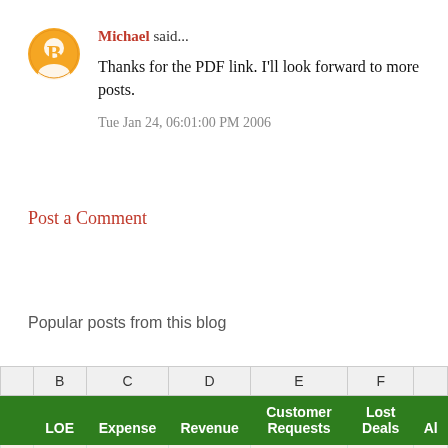Michael said...
Thanks for the PDF link. I'll look forward to more posts.
Tue Jan 24, 06:01:00 PM 2006
Post a Comment
Popular posts from this blog
|  | B | C | D | E | F | G |
| --- | --- | --- | --- | --- | --- | --- |
|  | LOE | Expense | Revenue | Customer Requests | Lost Deals | Al |
|  | 8 | 9 | 7 | 9 | 6 |  |